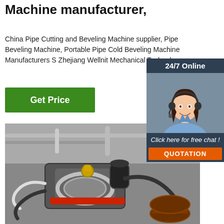Machine manufacturer,
China Pipe Cutting and Beveling Machine supplier, Pipe Beveling Machine, Portable Pipe Cold Beveling Machine Manufacturers Suppliers - Zhejiang Wellnit Mechanical Technology
Get Price
[Figure (photo): Customer service agent with headset, 24/7 Online chat widget overlay with QUOTATION button]
[Figure (photo): Close-up photo of pipe cutting and beveling machine equipment with cables and metal components]